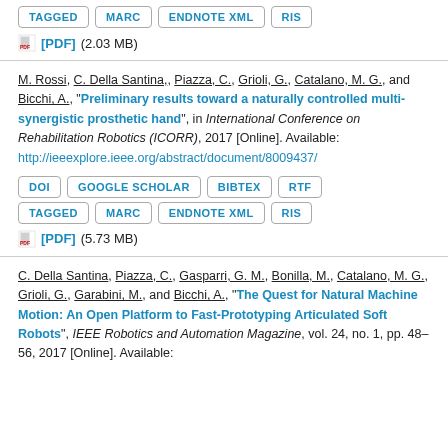Buttons: TAGGED, MARC, ENDNOTE XML, RIS
[PDF] (2.03 MB)
M. Rossi, C. Della Santina,, Piazza, C., Grioli, G., Catalano, M. G., and Bicchi, A., "Preliminary results toward a naturally controlled multi-synergistic prosthetic hand", in International Conference on Rehabilitation Robotics (ICORR), 2017 [Online]. Available: http://ieeexplore.ieee.org/abstract/document/8009437/
Buttons: DOI, GOOGLE SCHOLAR, BIBTEX, RTF, TAGGED, MARC, ENDNOTE XML, RIS
[PDF] (5.73 MB)
C. Della Santina, Piazza, C., Gasparri, G. M., Bonilla, M., Catalano, M. G., Grioli, G., Garabini, M., and Bicchi, A., "The Quest for Natural Machine Motion: An Open Platform to Fast-Prototyping Articulated Soft Robots", IEEE Robotics and Automation Magazine, vol. 24, no. 1, pp. 48–56, 2017 [Online]. Available: